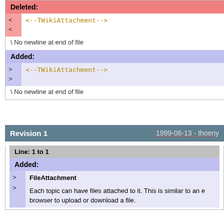Deleted:
<--TWikiAttachment-->
\ No newline at end of file
Added:
<--TWikiAttachment-->
\ No newline at end of file
Revision 1   1999-06-13 - thoeny
Line: 1 to 1
Added:
FileAttachment
Each topic can have files attached to it. This is similar to an e browser to upload or download a file.